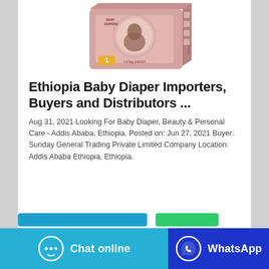[Figure (photo): Baby diaper product package box (Mamaloves brand, Size 1, 2-5kg, Unisex) with a baby image on it]
Ethiopia Baby Diaper Importers, Buyers and Distributors ...
Aug 31, 2021·Looking For Baby Diaper, Beauty & Personal Care - Addis Ababa, Ethiopia. Posted on: Jun 27, 2021 Buyer: Sunday General Trading Private Limited Company Location: Addis Ababa Ethiopia. Ethiopia.
[Figure (screenshot): Chat online button (blue) and WhatsApp button (dark blue) at bottom of page]